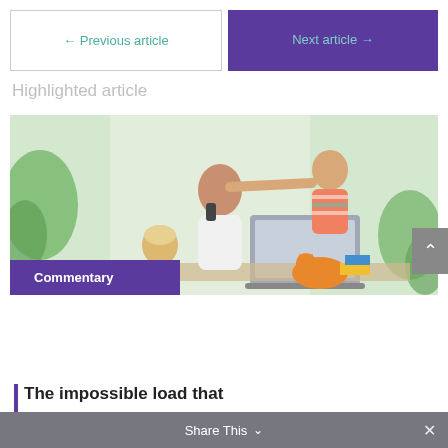← Previous article
Next article →
Highlighted article
[Figure (photo): Photo of children playing around an adult on a phone call at a desk with a laptop; a cat is on the desk. A purple 'Commentary' badge overlays the bottom left.]
The impossible load that
Share This